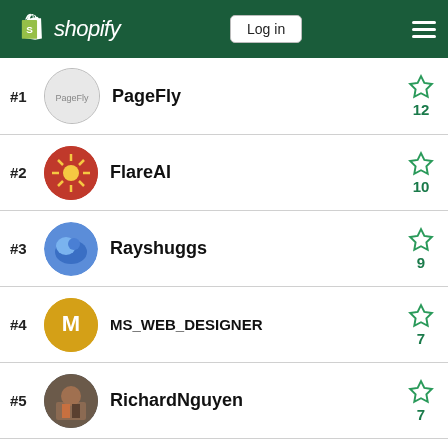shopify — Log in
#1 PageFly — 12 stars
#2 FlareAI — 10 stars
#3 Rayshuggs — 9 stars
#4 MS_WEB_DESIGNER — 7 stars
#5 RichardNguyen — 7 stars